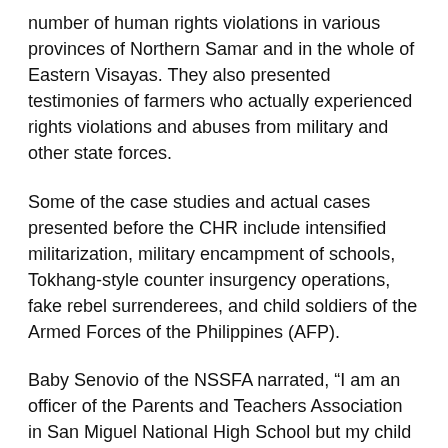number of human rights violations in various provinces of Northern Samar and in the whole of Eastern Visayas. They also presented testimonies of farmers who actually experienced rights violations and abuses from military and other state forces.
Some of the case studies and actual cases presented before the CHR include intensified militarization, military encampment of schools, Tokhang-style counter insurgency operations, fake rebel surrenderees, and child soldiers of the Armed Forces of the Philippines (AFP).
Baby Senovio of the NSSFA narrated, “I am an officer of the Parents and Teachers Association in San Miguel National High School but my child stopped going to school for fear of the military camping there. A lot of students dropped from attending school.”